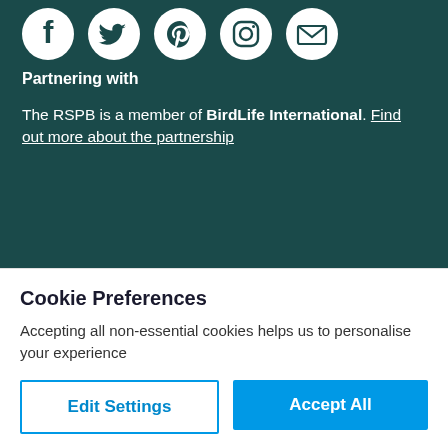[Figure (illustration): Five social media icons in white circles on teal background: Facebook, Twitter, Pinterest, Instagram, Email/envelope]
Partnering with
The RSPB is a member of BirdLife International. Find out more about the partnership
Cookie Preferences
Accepting all non-essential cookies helps us to personalise your experience
Edit Settings | Accept All